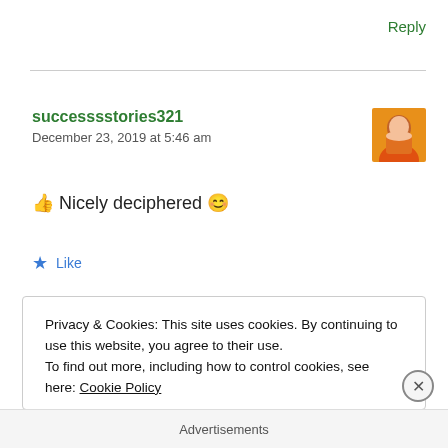Reply
successsstories321
December 23, 2019 at 5:46 am
👍 Nicely deciphered 😊
★ Like
Privacy & Cookies: This site uses cookies. By continuing to use this website, you agree to their use.
To find out more, including how to control cookies, see here: Cookie Policy
Close and accept
Advertisements